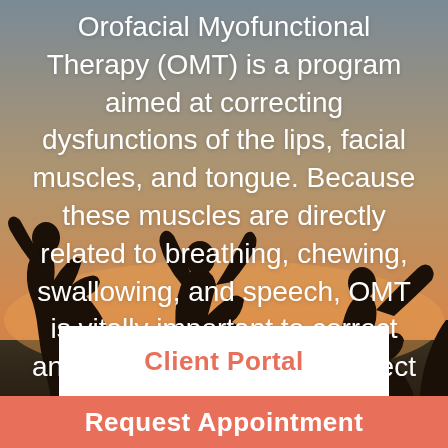[Figure (photo): Background photo showing silhouettes of people jumping joyfully against a warm sunset sky with orange and grey tones.]
Orofacial Myofunctional Therapy (OMT) is a program aimed at correcting dysfunctions of the lips, facial muscles, and tongue. Because these muscles are directly related to breathing, chewing, swallowing, and speech, OMT is vitally important to correct any disorders which may affect one's quality of life.
Client Portal
Request Appointment